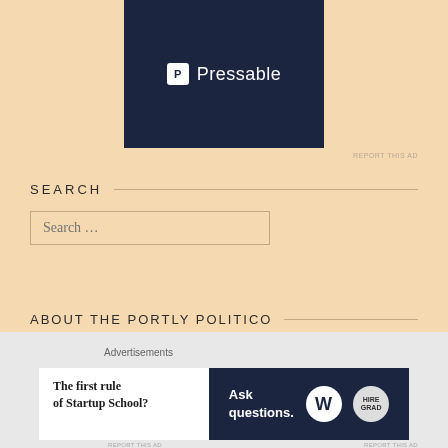[Figure (logo): Pressable logo on dark navy background]
SEARCH
Search ...
ABOUT THE PORTLY POLITICO
Tyler James Cook is The Portly Politico.  Tyler is an American patriot, history teacher, musician, and lover of politics.  You can view his previous work here.
[Figure (screenshot): Bottom advertisement banner: 'The first rule of Startup School?' on left, 'Ask questions.' with WordPress logos on right dark background]